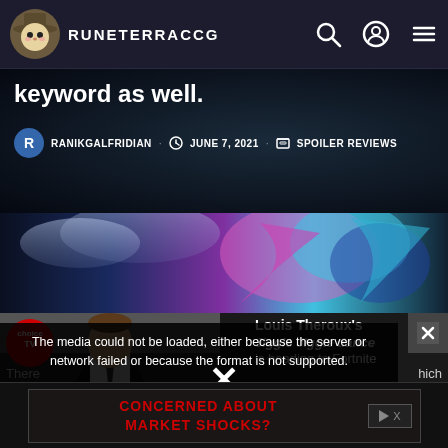RUNETERRACCG
keyword as well.
RANIKGALFRIDIAN · JUNE 7, 2021 · SPOILER REVIEWS
[Figure (photo): Dark fantasy game art banner, colorful character art with blue/pink/magenta hues]
The media could not be loaded, either because the server or network failed or because the format is not supported.
Louis Theroux's Jiggie Jiggie dance is heading to Fortnite
[Figure (photo): Man in suit with tie, choice TV logo overlay, media player error overlay]
CONCERNED ABOUT MARKET SHOCKS?
There
hich